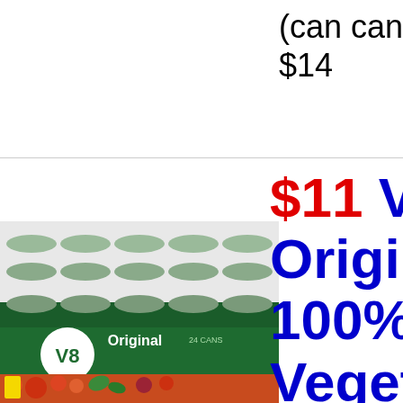(can cancel
$14
[Figure (photo): Pack of V8 Original 100% Vegetable Juice cans in a green branded multi-pack]
$11 V8 Original 100% Vegetable Juice, oz. Ca